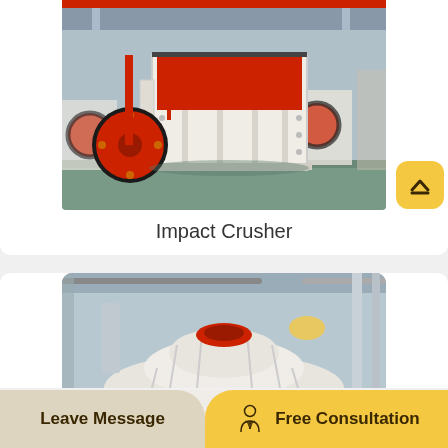[Figure (photo): Photo of a large white Impact Crusher machine with red flywheel and red interior, photographed in an industrial factory/warehouse setting. A yellow scroll-to-top button is overlaid in the bottom-right corner of the image.]
Impact Crusher
[Figure (photo): Partial photo of a cone or gyratory crusher machine (white and red), shown in an industrial facility, partially cut off at the bottom of the page.]
Leave Message    Free Consultation